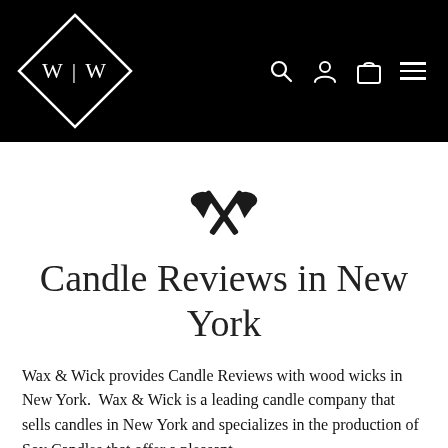[Figure (logo): W|W logo in a diamond shape on black background with navigation icons (search, user, cart, hamburger menu)]
[Figure (illustration): Two crossed axe icons in black]
Candle Reviews in New York
Wax & Wick provides Candle Reviews with wood wicks in New York.  Wax & Wick is a leading candle company that sells candles in New York and specializes in the production of Soy Candles that offer a pleasant...